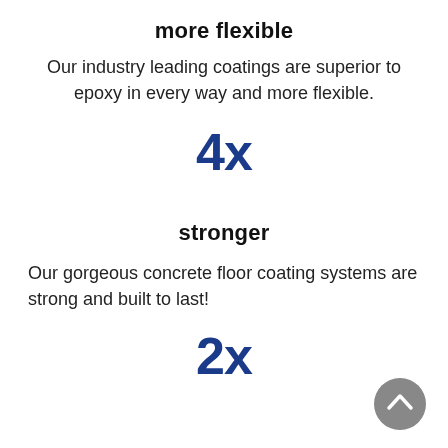more flexible
Our industry leading coatings are superior to epoxy in every way and more flexible.
4x
stronger
Our gorgeous concrete floor coating systems are strong and built to last!
2x
[Figure (other): Gray circular scroll-to-top button with white chevron arrow]